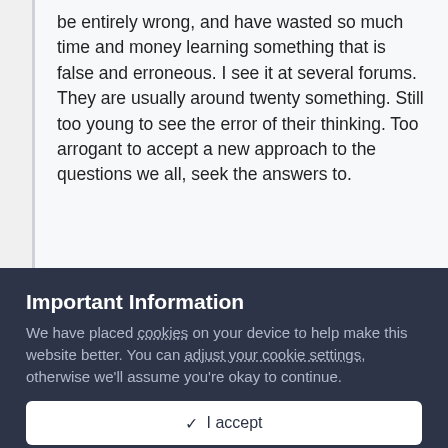be entirely wrong, and have wasted so much time and money learning something that is false and erroneous. I see it at several forums. They are usually around twenty something. Still too young to see the error of their thinking. Too arrogant to accept a new approach to the questions we all, seek the answers to.
Important Information
We have placed cookies on your device to help make this website better. You can adjust your cookie settings, otherwise we'll assume you're okay to continue.
✓  I accept